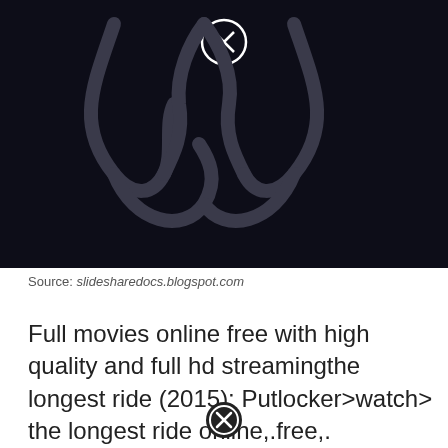[Figure (screenshot): Dark/black background with a stylized logo (overlapping diamond/infinity-like curves in dark gray) and a close button (circled X) at the top center.]
Source: slidesharedocs.blogspot.com
Full movies online free with high quality and full hd streamingthe longest ride (2015); Putlocker>watch> the longest ride online,.free,.